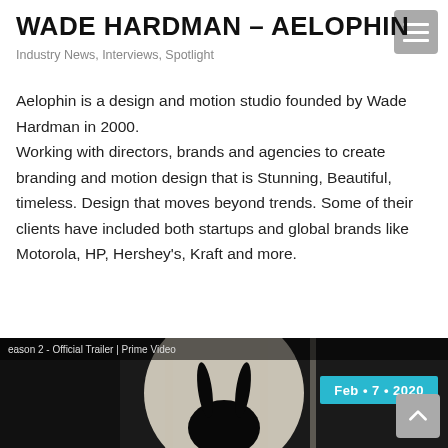WADE HARDMAN – AELOPHIN
Industry News, Interviews, Spotlight
Aelophin is a design and motion studio founded by Wade Hardman in 2000. Working with directors, brands and agencies to create branding and motion design that is Stunning, Beautiful, timeless. Design that moves beyond trends. Some of their clients have included both startups and global brands like Motorola, HP, Hershey's, Kraft and more.
Read more ▶
[Figure (screenshot): Video thumbnail showing a dark silhouette against a bright background, with text 'Season 2 - Official Trailer | Prime Video' and a date badge 'Feb • 7 • 2020' in cyan/teal.]